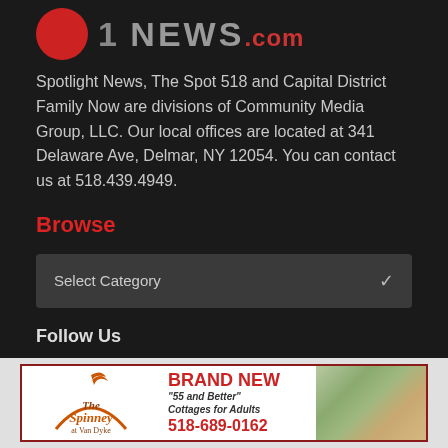[Figure (logo): Spotlight News logo with red circle and NEWS.com text]
Spotlight News, The Spot 518 and Capital District Family Now are divisions of Community Media Group, LLC. Our local offices are located at 341 Delaware Ave, Delmar, NY 12054. You can contact us at 518.439.4949.
Browse
[Figure (screenshot): Select Category dropdown widget]
Follow Us
[Figure (infographic): Social media icons: Facebook (x3), Twitter, Instagram]
[Figure (other): Advertisement banner for The Spinney at Van Dyke: BRAND NEW '55 and Better' Cottages for Adults, 518-689-0162]